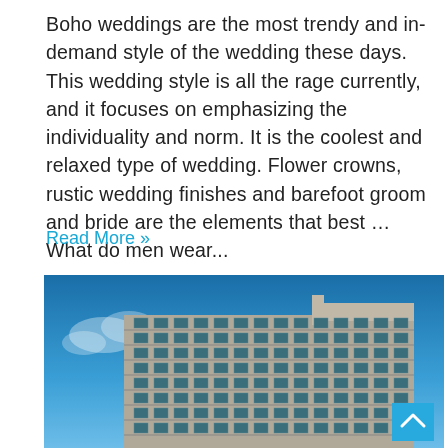Boho weddings are the most trendy and in-demand style of the wedding these days. This wedding style is all the rage currently, and it focuses on emphasizing the individuality and norm. It is the coolest and relaxed type of wedding. Flower crowns, rustic wedding finishes and barefoot groom and bride are the elements that best … What do men wear...
Read More »
[Figure (photo): Photograph of a multi-story modern hotel or apartment building with a blue sky background. The building has many floors with balconies/windows in a grid pattern. A scroll-to-top button (cyan square with upward chevron) is overlaid in the bottom-right corner.]